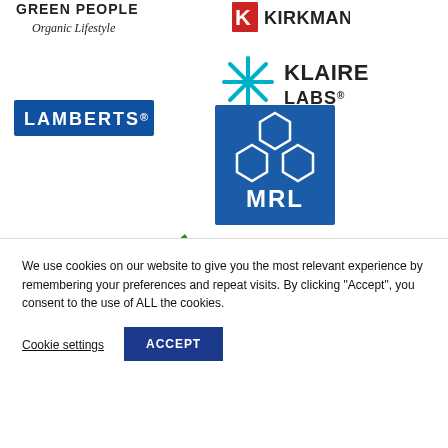[Figure (logo): Green People Organic Lifestyle logo - italic text on white background]
[Figure (logo): Kirkman logo - red K with KIRKMAN text]
[Figure (logo): Klaire Labs logo - teal snowflake-like K icon with KLAIRE LABS text]
[Figure (logo): Lamberts logo - white LAMBERTS text on blue rectangle background]
[Figure (logo): MRL logo - blue square with white hexagonal honeycomb pattern and MRL text]
[Figure (logo): NutraMedix logo - bold text with green tree icon, tagline: Providing Quality Natural Products Since 1993]
[Figure (logo): Partially visible blue logo at bottom right (cut off)]
We use cookies on our website to give you the most relevant experience by remembering your preferences and repeat visits. By clicking "Accept", you consent to the use of ALL the cookies.
Cookie settings
ACCEPT